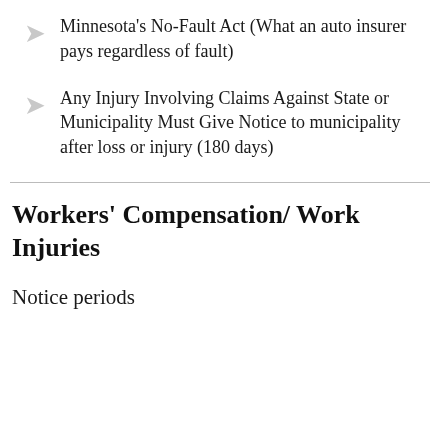Minnesota's No-Fault Act (What an auto insurer pays regardless of fault)
Any Injury Involving Claims Against State or Municipality Must Give Notice to municipality after loss or injury (180 days)
Workers' Compensation/ Work Injuries
Notice periods